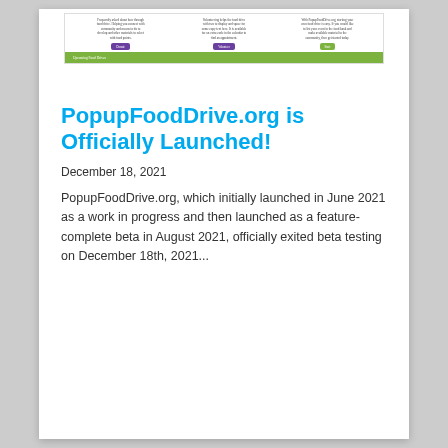[Figure (screenshot): Screenshot of PopupFoodDrive.org website showing three columns of text with Donate, Volunteer, and Start buttons, followed by a green bar with navigation links.]
PopupFoodDrive.org is Officially Launched!
December 18, 2021
PopupFoodDrive.org, which initially launched in June 2021 as a work in progress and then launched as a feature-complete beta in August 2021, officially exited beta testing on December 18th, 2021...